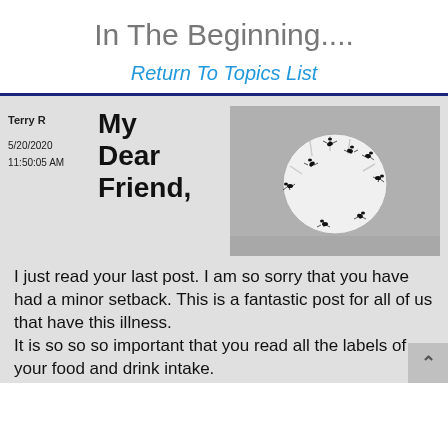In The Beginning....
Return To Topics List
[Figure (photo): Black and white photo of a round fuzzy object (possibly a seed or plant) covered in many ants.]
Terry R
5/20/2020
11:50:05 AM
My Dear Friend,
I just read your last post. I am so sorry that you have had a minor setback. This is a fantastic post for all of us that have this illness. It is so so so important that you read all the labels of your food and drink intake.